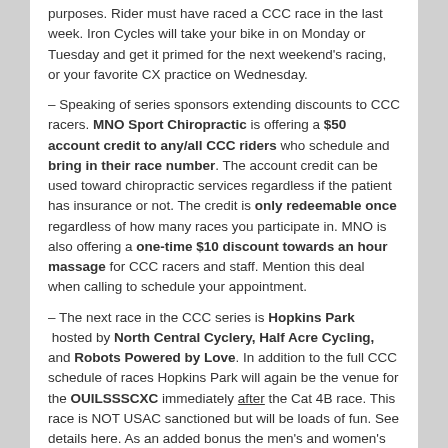purposes. Rider must have raced a CCC race in the last week. Iron Cycles will take your bike in on Monday or Tuesday and get it primed for the next weekend's racing, or your favorite CX practice on Wednesday.
– Speaking of series sponsors extending discounts to CCC racers. MNO Sport Chiropractic is offering a $50 account credit to any/all CCC riders who schedule and bring in their race number. The account credit can be used toward chiropractic services regardless if the patient has insurance or not. The credit is only redeemable once regardless of how many races you participate in. MNO is also offering a one-time $10 discount towards an hour massage for CCC racers and staff. Mention this deal when calling to schedule your appointment.
– The next race in the CCC series is Hopkins Park hosted by North Central Cyclery, Half Acre Cycling, and Robots Powered by Love. In addition to the full CCC schedule of races Hopkins Park will again be the venue for the OUILSSSCXC immediately after the Cat 4B race. This race is NOT USAC sanctioned but will be loads of fun. See details here. As an added bonus the men's and women's SS winners earn a complimentary entry into the Single Speed Cyclocross World Championship weekend being held November 19-20 in San Francisco, CA. In addition to